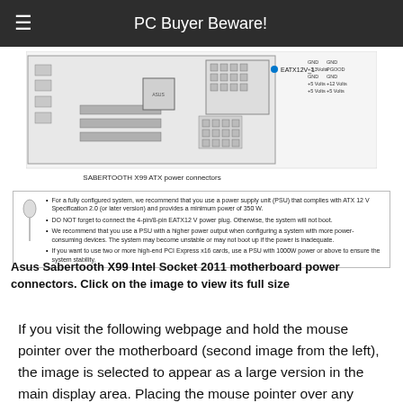PC Buyer Beware!
[Figure (screenshot): Screenshot of the SABERTOOTH X99 ATX power connectors diagram from the Asus motherboard manual, showing connector layout with EATX12V_1 label and pin configuration labels (GND, +12Volts, PGOOD, etc.), along with a notes box containing four bullet points about PSU requirements.]
Asus Sabertooth X99 Intel Socket 2011 motherboard power connectors. Click on the image to view its full size
If you visit the following webpage and hold the mouse pointer over the motherboard (second image from the left), the image is selected to appear as a large version in the main display area. Placing the mouse pointer over any area of the board presents a magnified version.